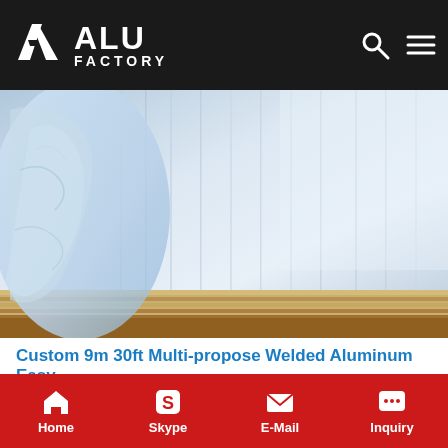ALU FACTORY
[Figure (photo): Stacked aluminum sheets with plastic wrapping on left side, silver metallic surface with vertical striations visible]
Custom 9m 30ft Multi-propose Welded Aluminum Easy
Custom 9m 30ft Multi-propose Welded Aluminum Easy Craft Fishing Boat With Cabin For Sale, Find Complete Details about Custom 9m 30ft Multi-propose Welded Aluminum Easy Craft Fishing Boat With Cabin For Sale,aluminum Fishing Boat Cabin
Home  Skype  E-Mail  Inquiry